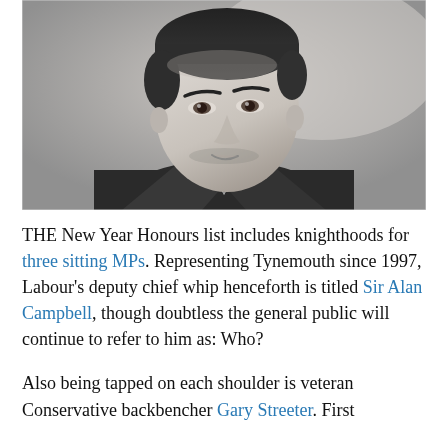[Figure (photo): Black and white portrait photograph of a middle-aged man in a suit and tie, looking slightly to the left with a subtle smile.]
THE New Year Honours list includes knighthoods for three sitting MPs. Representing Tynemouth since 1997, Labour's deputy chief whip henceforth is titled Sir Alan Campbell, though doubtless the general public will continue to refer to him as: Who?
Also being tapped on each shoulder is veteran Conservative backbencher Gary Streeter. First